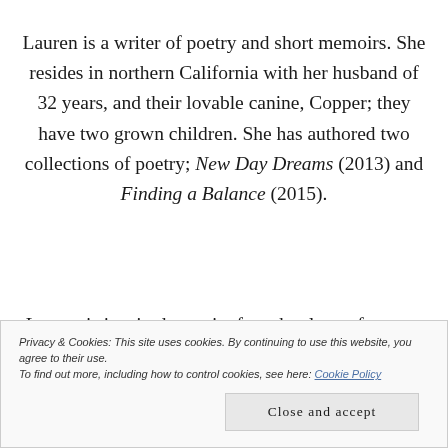Lauren is a writer of poetry and short memoirs. She resides in northern California with her husband of 32 years, and their lovable canine, Copper; they have two grown children. She has authored two collections of poetry; New Day Dreams (2013) and Finding a Balance (2015).
Lauren is inspired to write from her love of nature. Lauren marvels at how the world is interconnected and every living thing matters. She hopes her readers
Privacy & Cookies: This site uses cookies. By continuing to use this website, you agree to their use. To find out more, including how to control cookies, see here: Cookie Policy
Close and accept